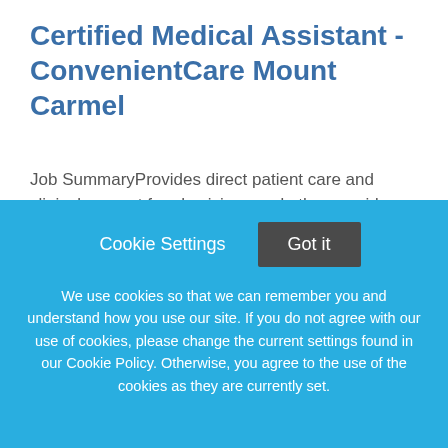Certified Medical Assistant - ConvenientCare Mount Carmel
Job SummaryProvides direct patient care and clinical support for physicians and other providers in the outpatient setting. Functions as an integral member of the health care team under the direction of the provider.
This job listing is no longer active.
[Figure (screenshot): Cookie consent banner overlay with 'Cookie Settings' and 'Got it' buttons and cookie policy text]
Cookie Settings
Got it
We use cookies so that we can remember you and understand how you use our site. If you do not agree with our use of cookies, please change the current settings found in our Cookie Policy. Otherwise, you agree to the use of the cookies as they are currently set.